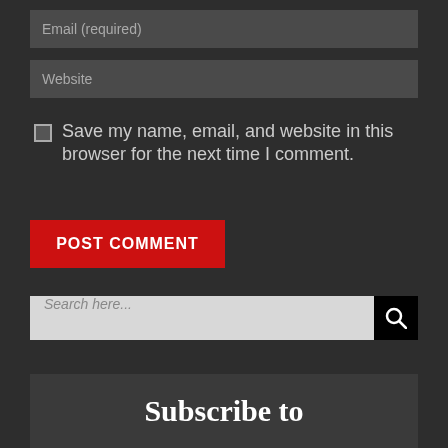Email (required)
Website
Save my name, email, and website in this browser for the next time I comment.
POST COMMENT
Search here...
Subscribe to